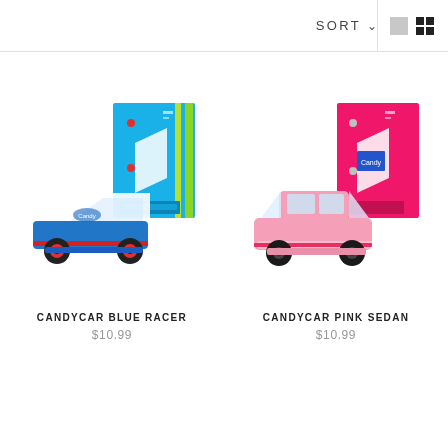SORT ▾
[Figure (photo): Blue wooden toy car (Candycar Blue Racer) next to its bright blue and green striped box packaging]
CANDYCAR BLUE RACER
$10.99
[Figure (photo): Pink wooden toy car (Candycar Pink Sedan) next to its hot pink box packaging]
CANDYCAR PINK SEDAN
$10.99